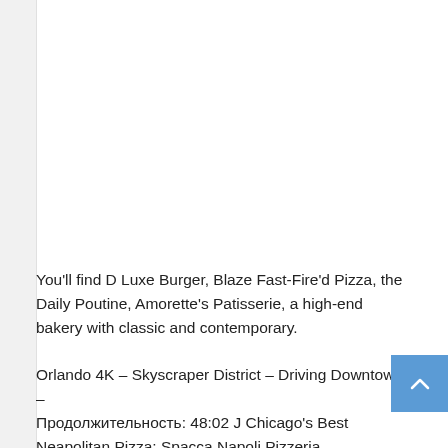You'll find D Luxe Burger, Blaze Fast-Fire'd Pizza, the Daily Poutine, Amorette's Patisserie, a high-end bakery with classic and contemporary.
Orlando 4K – Skyscraper District – Driving Downtown – Продолжительность: 48:02 J Chicago's Best Neapolitan Pizza: Spacca Napoli Pizzeria – Продолжительность: 3:27 Chicago's Best.